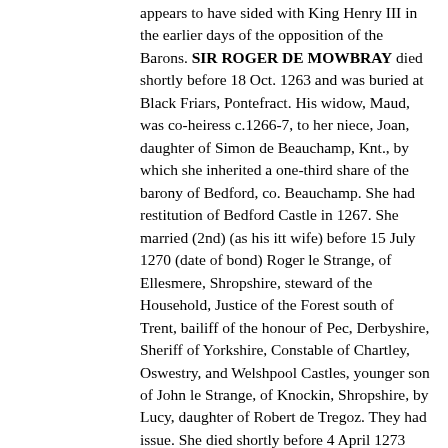appears to have sided with King Henry III in the earlier days of the opposition of the Barons. SIR ROGER DE MOWBRAY died shortly before 18 Oct. 1263 and was buried at Black Friars, Pontefract. His widow, Maud, was co-heiress c.1266-7, to her niece, Joan, daughter of Simon de Beauchamp, Knt., by which she inherited a one-third share of the barony of Bedford, co. Beauchamp. She had restitution of Bedford Castle in 1267. She married (2nd) (as his itt wife) before 15 July 1270 (date of bond) Roger le Strange, of Ellesmere, Shropshire, steward of the Household, Justice of the Forest south of Trent, bailiff of the honour of Pec, Derbyshire, Sheriff of Yorkshire, Constable of Chartley, Oswestry, and Welshpool Castles, younger son of John le Strange, of Knockin, Shropshire, by Lucy, daughter of Robert de Tregoz. They had issue. She died shortly before 4 April 1273 and was buried with her 1st husband. He married (2nd) Maud _____. In 1288 he was commander of an expedition against Rhys ap Maredudd. He was King's messenger at the Court of Rome in 1291-2. He was summoned to Parliament from 24 June 1295 till 26 August 1296 by writs directed Rogero Extraneo, whereby he is